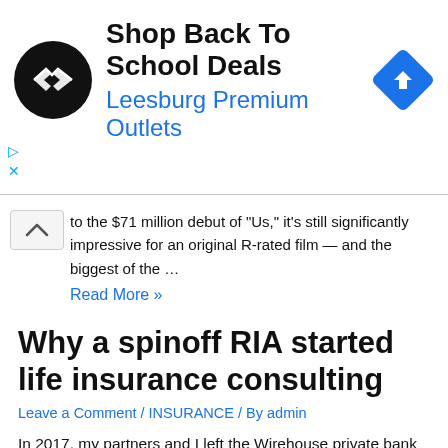[Figure (logo): Ad banner: Shop Back To School Deals - Leesburg Premium Outlets with circular logo and direction arrow]
to the $71 million debut of "Us," it's still significantly impressive for an original R-rated film — and the biggest of the …
Read More »
Why a spinoff RIA started life insurance consulting
Leave a Comment / INSURANCE / By admin
In 2017, my partners and I left the Wirehouse private bank to start our own RIA. Our goal was to make holistic wealth management a reality for our very wealthy clientele, and we were determined to support this mission with the right infrastructure. Like most teams